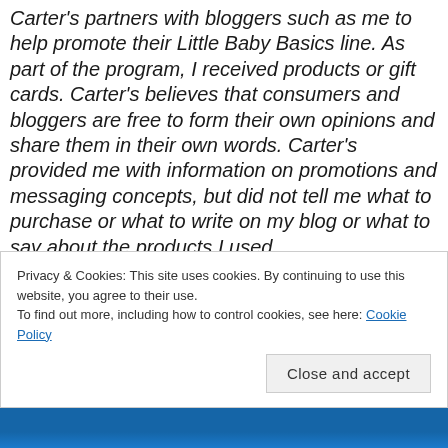Carter's partners with bloggers such as me to help promote their Little Baby Basics line. As part of the program, I received products or gift cards. Carter's believes that consumers and bloggers are free to form their own opinions and share them in their own words. Carter's provided me with information on promotions and messaging concepts, but did not tell me what to purchase or what to write on my blog or what to say about the products I used.
Privacy & Cookies: This site uses cookies. By continuing to use this website, you agree to their use. To find out more, including how to control cookies, see here: Cookie Policy
Close and accept